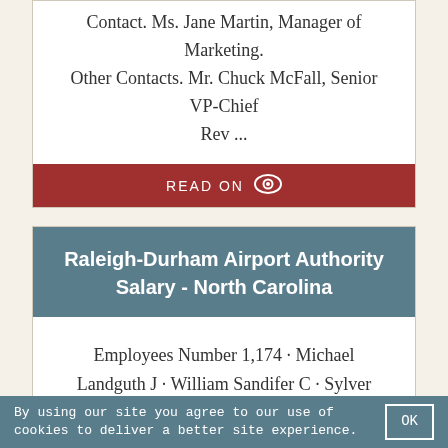Contact. Ms. Jane Martin, Manager of Marketing. Other Contacts. Mr. Chuck McFall, Senior VP-Chief Rev ...
READ ON
Raleigh-Durham Airport Authority Salary - North Carolina
Employees Number 1,174 · Michael Landguth J · William Sandifer C · Sylver Donna F · Charles McFall H · Erin Locklear M · David Freedman S · Umphrey A C · Jewett ...
READ ON
By using our site you agree to our use of cookies to deliver a better site experience.